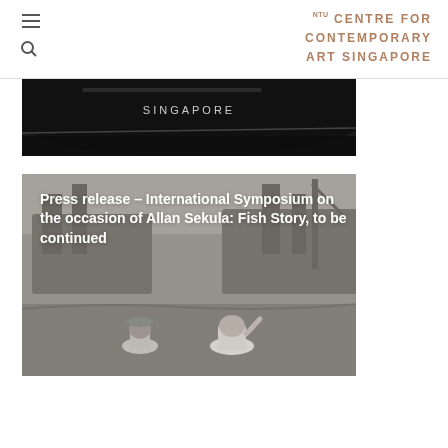NTU Centre for Contemporary Art Singapore
[Figure (photo): Partial view of a ship hull with the word SINGAPORE visible, dark background]
[Figure (photo): Two people sitting at a harbor/port with large ships in misty background, overlaid with white bold text]
Press release – International Symposium on the occasion of Allan Sekula: Fish Story, to be continued